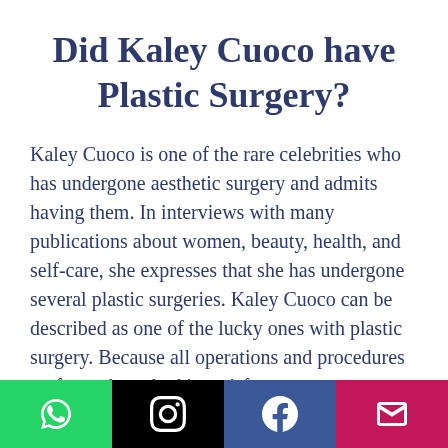Did Kaley Cuoco have Plastic Surgery?
Kaley Cuoco is one of the rare celebrities who has undergone aesthetic surgery and admits having them. In interviews with many publications about women, beauty, health, and self-care, she expresses that she has undergone several plastic surgeries. Kaley Cuoco can be described as one of the lucky ones with plastic surgery. Because all operations and procedures performed resulted in satisfactory
[Figure (other): Social media share bar with WhatsApp (green), Instagram (black), Facebook (dark blue), and Email (pink/magenta) buttons, each with a white icon.]